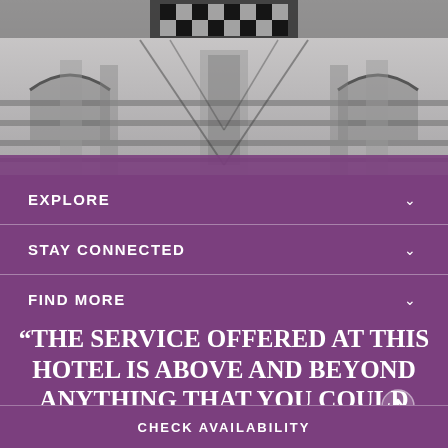[Figure (photo): Black and white architectural photo of a hotel building exterior with symmetrical mirrored pattern, featuring ornate structural elements]
EXPLORE
STAY CONNECTED
FIND MORE
“THE SERVICE OFFERED AT THIS HOTEL IS ABOVE AND BEYOND ANYTHING THAT YOU COULD EXPE…”
CHECK AVAILABILITY